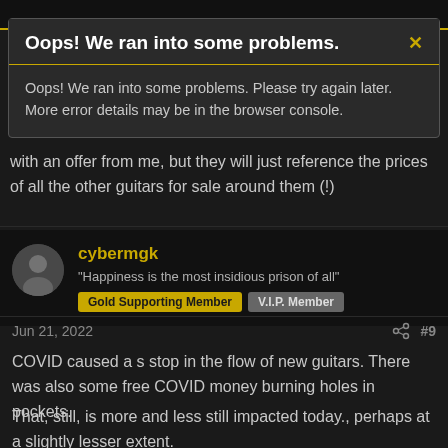[Figure (screenshot): Dark-themed website page header bar]
Oops! We ran into some problems.
Oops! We ran into some problems. Please try again later. More error details may be in the browser console.
with an offer from me, but they will just reference the prices of all the other guitars for sale around them (!)
cybermgk
"Happiness is the most insidious prison of all"
Gold Supporting Member | V.I.P. Member
Jun 21, 2022  #9
COVID caused a s stop in the flow of new guitars. There was also some free COVID money burning holes in pockets.
That, still, is more and less still impacted today., perhaps at a slightly lesser extent.